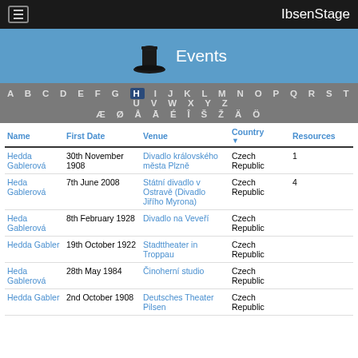IbsenStage
Events
A B C D E F G H I J K L M N O P Q R S T U V W X Y Z Æ Ø Å Ā É Î Š Ž Ä Ö
| Name | First Date | Venue | Country | Resources |
| --- | --- | --- | --- | --- |
| Hedda Gablerová | 30th November 1908 | Divadlo královského města Plzně | Czech Republic | 1 |
| Heda Gablerová | 7th June 2008 | Státní divadlo v Ostravě (Divadlo Jiřího Myrona) | Czech Republic | 4 |
| Heda Gablerová | 8th February 1928 | Divadlo na Veveří | Czech Republic |  |
| Hedda Gabler | 19th October 1922 | Stadttheater in Troppau | Czech Republic |  |
| Heda Gablerová | 28th May 1984 | Činoherní studio | Czech Republic |  |
| Hedda Gabler | 2nd October 1908 | Deutsches Theater Pilsen | Czech Republic |  |